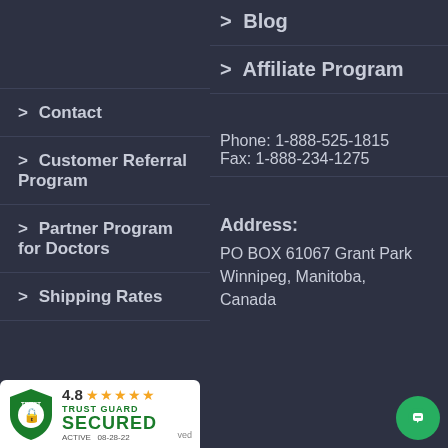> Blog
> Affiliate Program
> Contact
> Customer Referral Program
> Partner Program for Doctors
> Shipping Rates
Phone: 1-888-525-1815
Fax: 1-888-234-1275
Address:
PO BOX 61067 Grant Park
Winnipeg, Manitoba, Canada
[Figure (logo): Trust Guard Secured badge with 4.8 star rating and shield logo]
[Figure (other): Green circular chat button with chat icon]